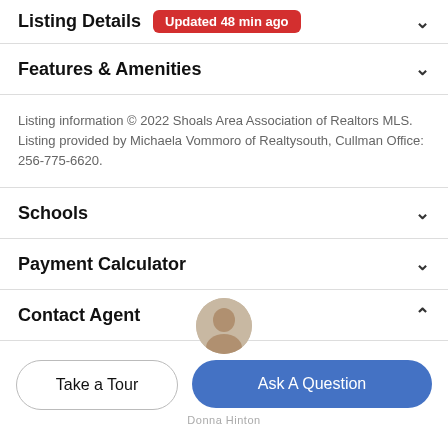Listing Details Updated 48 min ago
Features & Amenities
Listing information © 2022 Shoals Area Association of Realtors MLS. Listing provided by Michaela Vommoro of Realtysouth, Cullman Office: 256-775-6620.
Schools
Payment Calculator
Contact Agent
[Figure (photo): Circular avatar photo of a contact agent, partially visible at the bottom of the page.]
Take a Tour
Ask A Question